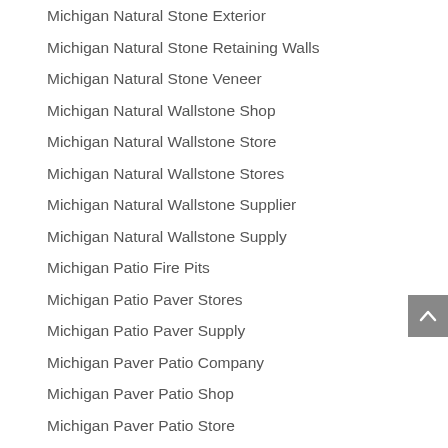Michigan Natural Stone Exterior
Michigan Natural Stone Retaining Walls
Michigan Natural Stone Veneer
Michigan Natural Wallstone Shop
Michigan Natural Wallstone Store
Michigan Natural Wallstone Stores
Michigan Natural Wallstone Supplier
Michigan Natural Wallstone Supply
Michigan Patio Fire Pits
Michigan Patio Paver Stores
Michigan Patio Paver Supply
Michigan Paver Patio Company
Michigan Paver Patio Shop
Michigan Paver Patio Store
Michigan Paver Patio Supplier